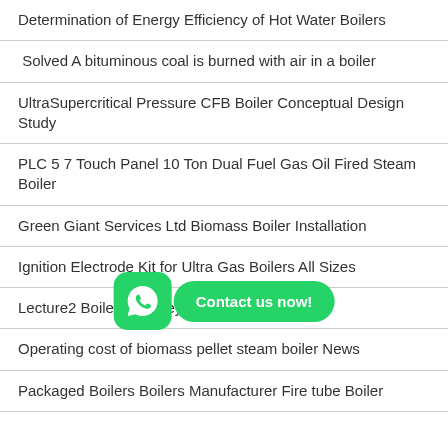Determination of Energy Efficiency of Hot Water Boilers
Solved A bituminous coal is burned with air in a boiler
UltraSupercritical Pressure CFB Boiler Conceptual Design Study
PLC 5 7 Touch Panel 10 Ton Dual Fuel Gas Oil Fired Steam Boiler
Green Giant Services Ltd Biomass Boiler Installation
Ignition Electrode Kit for Ultra Gas Boilers All Sizes
Lecture2 Boilerschimney Davi academia edu
Operating cost of biomass pellet steam boiler News
Packaged Boilers Boilers Manufacturer Fire tube Boiler